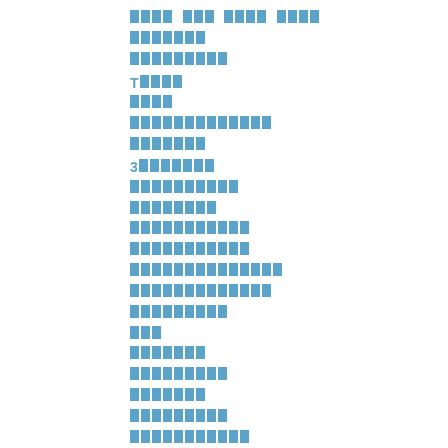[redacted/obscured text block - Thai or similar script rendered as block characters in light blue]